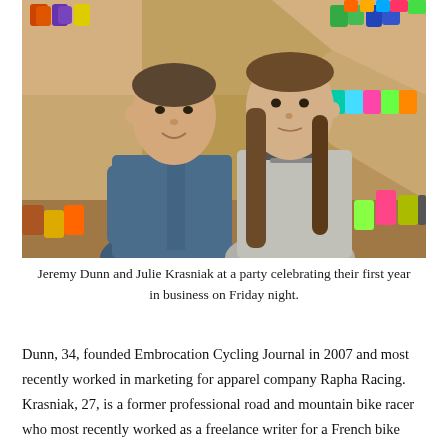[Figure (photo): Two people standing together in front of shelving displaying colorful socks. The man on the left wears a denim shirt; the woman on the right has long brown hair and wears a gray top.]
Jeremy Dunn and Julie Krasniak at a party celebrating their first year in business on Friday night.
Dunn, 34, founded Embrocation Cycling Journal in 2007 and most recently worked in marketing for apparel company Rapha Racing. Krasniak, 27, is a former professional road and mountain bike racer who most recently worked as a freelance writer for a French bike magazine. Together, they represent a